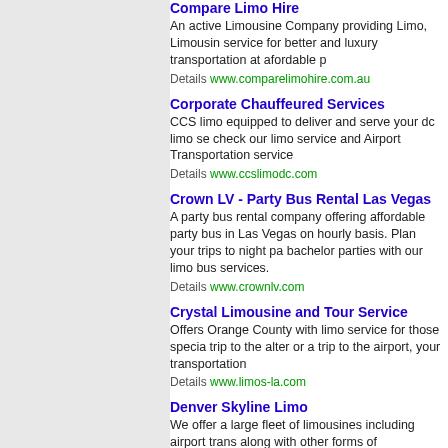Compare Limo Hire - An active Limousine Company providing Limo, Limousine service for better and luxury transportation at afordable p... Details www.comparelimohire.com.au
Corporate Chauffeured Services - CCS limo equipped to deliver and serve your dc limo se... check our limo service and Airport Transportation service... Details www.ccslimodc.com
Crown LV - Party Bus Rental Las Vegas - A party bus rental company offering affordable party bus in Las Vegas on hourly basis. Plan your trips to night pa... bachelor parties with our limo bus services. Details www.crownlv.com
Crystal Limousine and Tour Service - Offers Orange County with limo service for those specia... trip to the alter or a trip to the airport, your transportation... Details www.limos-la.com
Denver Skyline Limo - We offer a large fleet of limousines including airport trans... along with other forms of transportation in Denver Colora... Details www.denverskylinelimo.com
DFR Limousine Services - Corporate car service and airport limousine service for W... and Newark airports, serving customers in Columbia and... and Fairfield County, CT. Details dfrlimo.com
Page: 1 2 3 4
See Also: Wedding Car Hire Car Hire Shuttle Services